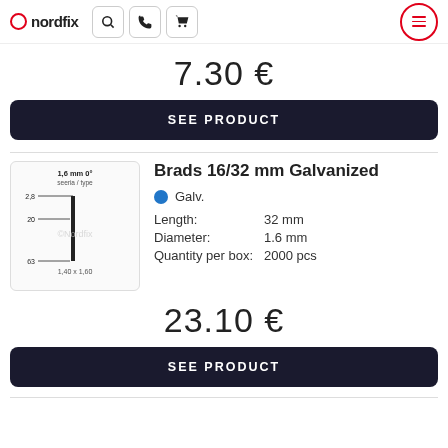nordfix — navigation header with search, phone, cart icons and menu
7.30 €
SEE PRODUCT
Brads 16/32 mm Galvanized
[Figure (schematic): Technical diagram of a nail/brad with measurements: 1.6 mm 0° seeria/type, 2.8 top, 20 middle, 63 bottom, 1.40 x 1.60]
Galv.
Length: 32 mm
Diameter: 1.6 mm
Quantity per box: 2000 pcs
23.10 €
SEE PRODUCT